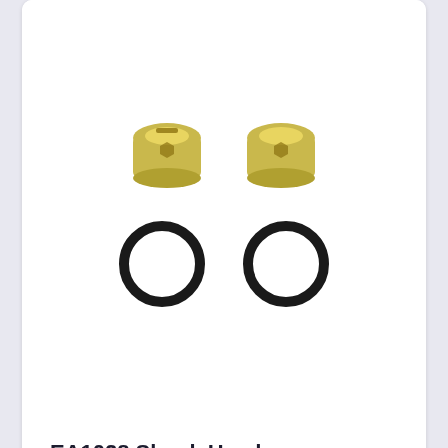[Figure (photo): Two gold-colored shock head caps and two black rubber O-rings (RC car spare parts) against a white background]
EA1028 Shock Head
JLB CHEETAH J3 AND MORE SPARE PARTS
$7.50
[Figure (photo): RC car small parts including two dark gray servo discs/plates with holes, a small link/rod end, and a small round bushing against a white background]